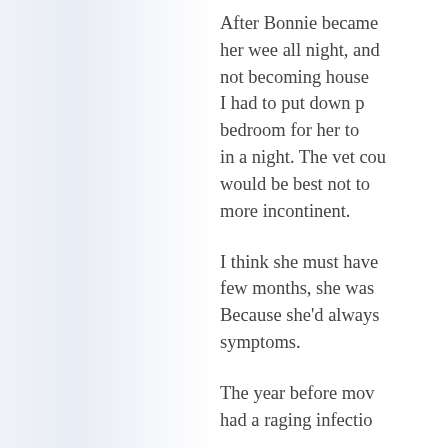After Bonnie became her wee all night, and not becoming house I had to put down p bedroom for her to in a night. The vet cou would be best not to more incontinent.
I think she must have few months, she was Because she'd always symptoms.
The year before mov had a raging infectio